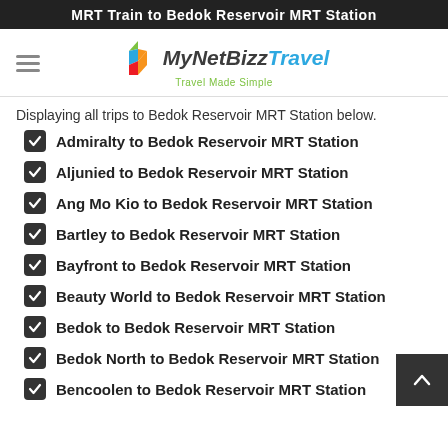MRT Train to Bedok Reservoir MRT Station
[Figure (logo): MyNetBizz Travel logo with colorful geometric icon and tagline 'Travel Made Simple']
Displaying all trips to Bedok Reservoir MRT Station below.
Admiralty to Bedok Reservoir MRT Station
Aljunied to Bedok Reservoir MRT Station
Ang Mo Kio to Bedok Reservoir MRT Station
Bartley to Bedok Reservoir MRT Station
Bayfront to Bedok Reservoir MRT Station
Beauty World to Bedok Reservoir MRT Station
Bedok to Bedok Reservoir MRT Station
Bedok North to Bedok Reservoir MRT Station
Bencoolen to Bedok Reservoir MRT Station